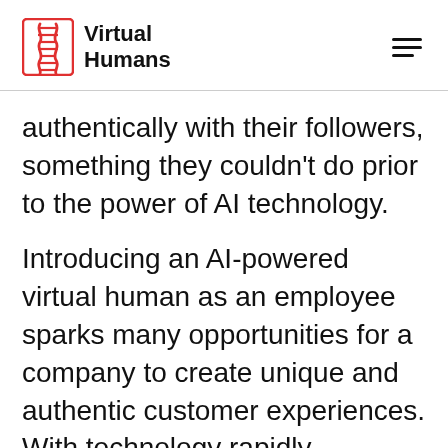Virtual Humans
authentically with their followers, something they couldn't do prior to the power of AI technology.
Introducing an AI-powered virtual human as an employee sparks many opportunities for a company to create unique and authentic customer experiences. With technology rapidly developing, it is easy to imagine these